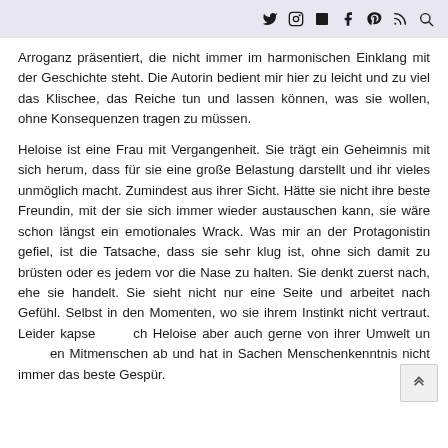Social media icons: Twitter, Instagram, RSS/Blog, Facebook, Pinterest, RSS, Search
Arroganz präsentiert, die nicht immer im harmonischen Einklang mit der Geschichte steht. Die Autorin bedient mir hier zu leicht und zu viel das Klischee, das Reiche tun und lassen können, was sie wollen, ohne Konsequenzen tragen zu müssen.
Heloise ist eine Frau mit Vergangenheit. Sie trägt ein Geheimnis mit sich herum, dass für sie eine große Belastung darstellt und ihr vieles unmöglich macht. Zumindest aus ihrer Sicht. Hätte sie nicht ihre beste Freundin, mit der sie sich immer wieder austauschen kann, sie wäre schon längst ein emotionales Wrack. Was mir an der Protagonistin gefiel, ist die Tatsache, dass sie sehr klug ist, ohne sich damit zu brüsten oder es jedem vor die Nase zu halten. Sie denkt zuerst nach, ehe sie handelt. Sie sieht nicht nur eine Seite und arbeitet nach Gefühl. Selbst in den Momenten, wo sie ihrem Instinkt nicht vertraut. Leider kapselt sich Heloise aber auch gerne von ihrer Umwelt und den Mitmenschen ab und hat in Sachen Menschenkenntnis nicht immer das beste Gespür.